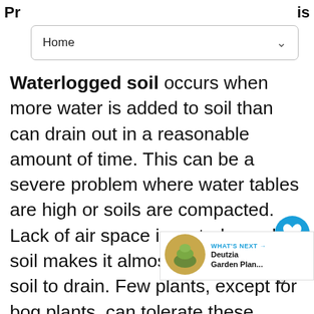Pr... is
Home
Waterlogged soil occurs when more water is added to soil than can drain out in a reasonable amount of time. This can be a severe problem where water tables are high or soils are compacted. Lack of air space in waterlogged soil makes it almost impossible for soil to drain. Few plants, except for bog plants, can tolerate these conditions. Drainage must be improved if you are not satisfied with bog gardening. Over-watered plants have the same wilted leaves as under-watered plants. Fungi such as Phytophthora and Pythium affect vascular systems, which cause wilt. If the problem is only on the surface, it maybe diverted to a drainage ditch. If drainage is poor